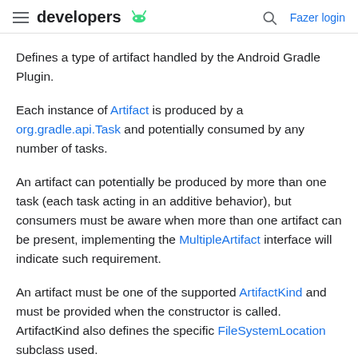developers  [Android logo]  [search icon]  Fazer login
Defines a type of artifact handled by the Android Gradle Plugin.
Each instance of Artifact is produced by a org.gradle.api.Task and potentially consumed by any number of tasks.
An artifact can potentially be produced by more than one task (each task acting in an additive behavior), but consumers must be aware when more than one artifact can be present, implementing the MultipleArtifact interface will indicate such requirement.
An artifact must be one of the supported ArtifactKind and must be provided when the constructor is called. ArtifactKind also defines the specific FileSystemLocation subclass used.